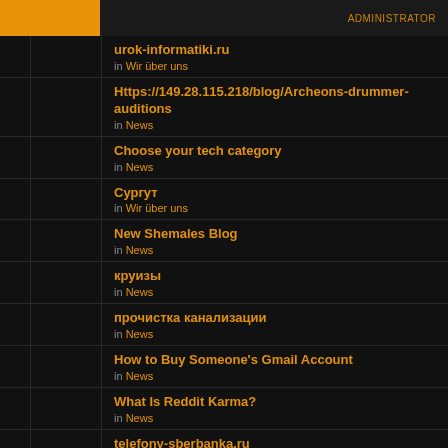urok-informatiki.ru in Wir über uns
Https://149.28.115.218/blog/Archeons-drummer-auditions in News
Choose your tech category in News
Сургут in Wir über uns
New Shemales Blog in News
круизы in News
прочистка канализации in News
How to Buy Someone's Gmail Account in News
What Is Reddit Karma? in News
telefony-sberbanka.ru in Wir über uns
Using Elden Ring Items you will be able to invite other play in News
Best Kriya Yoga Info in News